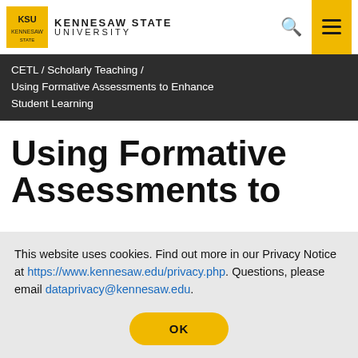[Figure (logo): Kennesaw State University logo with KSU shield emblem and university name text]
CETL / Scholarly Teaching / Using Formative Assessments to Enhance Student Learning
Using Formative Assessments to
This website uses cookies. Find out more in our Privacy Notice at https://www.kennesaw.edu/privacy.php. Questions, please email dataprivacy@kennesaw.edu.